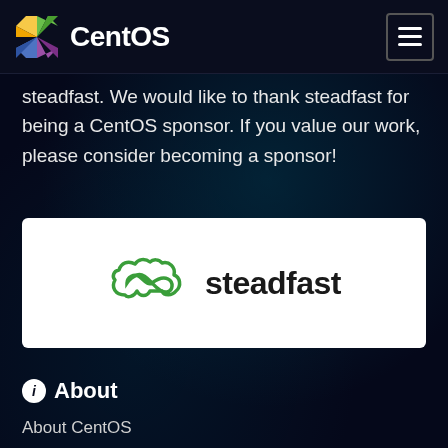CentOS
steadfast. We would like to thank steadfast for being a CentOS sponsor. If you value our work, please consider becoming a sponsor!
[Figure (logo): Steadfast company logo — cloud infinity symbol in green with the text 'steadfast' in dark font on white background]
About
About CentOS
Frequently Asked Questions (FAQs)
Special Interest Groups (SIGs)
CentOS Variants
Governance